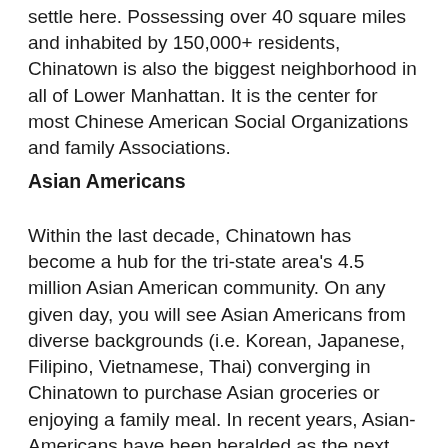settle here. Possessing over 40 square miles and inhabited by 150,000+ residents, Chinatown is also the biggest neighborhood in all of Lower Manhattan. It is the center for most Chinese American Social Organizations and family Associations.
Asian Americans
Within the last decade, Chinatown has become a hub for the tri-state area's 4.5 million Asian American community. On any given day, you will see Asian Americans from diverse backgrounds (i.e. Korean, Japanese, Filipino, Vietnamese, Thai) converging in Chinatown to purchase Asian groceries or enjoying a family meal. In recent years, Asian-Americans have been heralded as the next breakthrough consumer segment by marketers across the country as they are the fastest growing minority group (6x the national average) and possess the highest median income (60% have incomes over $60,000) and education (29% have a bachelors degree or higher) among all